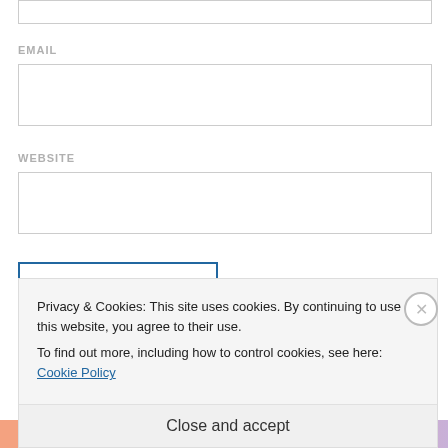[Figure (screenshot): Top portion of a web form input box (empty, border visible at top of page)]
EMAIL
[Figure (screenshot): Empty email input field with border]
WEBSITE
[Figure (screenshot): Empty website input field with border]
[Figure (screenshot): Blue-bordered button (partially visible)]
Privacy & Cookies: This site uses cookies. By continuing to use this website, you agree to their use.
To find out more, including how to control cookies, see here: Cookie Policy
Close and accept
[Figure (screenshot): Bottom colored strip with faint text (HEALTH TOPICS or similar)]